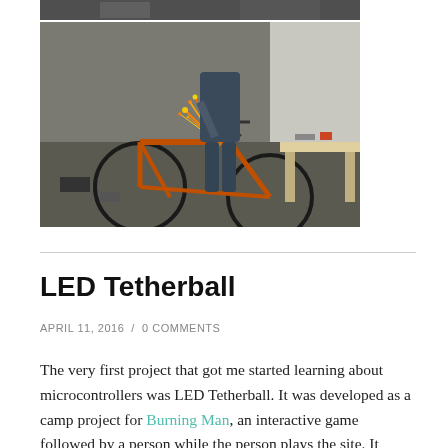[Figure (photo): Partial top of a photo showing a person working on a bicycle outdoors]
[Figure (photo): Person grinding metal on an orange bicycle outdoors with sparks flying, tools and a workbench in the background]
LED Tetherball
APRIL 11, 2016  /  0 COMMENTS
The very first project that got me started learning about microcontrollers was LED Tetherball. It was developed as a camp project for Burning Man, an interactive game followed by a person while the person plays the site. It...